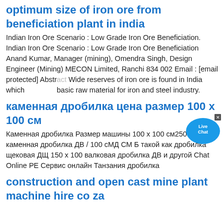optimum size of iron ore from beneficiation plant in india
Indian Iron Ore Scenario : Low Grade Iron Ore Beneficiation. Indian Iron Ore Scenario : Low Grade Iron Ore Beneficiation Anand Kumar, Manager (mining), Omendra Singh, Design Engineer (Mining) MECON Limited, Ranchi 834 002 Email : [email protected] Abstract Wide reserves of iron ore is found in India which basic raw material for iron and steel industry.
каменная дробилка цена размер 100 х 100 см
Каменная дробилка Размер машины 100 х 100 см250 х 400 каменная дробилка ДВ / 100 сМД СМ Б такой как дробилка щековая ДЩ 150 х 100 валковая дробилка ДВ и другой Chat Online PE Сервис онлайн Танзания дробилка
construction and open cast mine plant machine hire co za